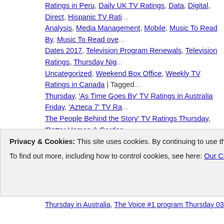Ratings in Peru, Daily UK TV Ratings, Data, Digital, Direct, Hispanic TV Ratings, Analysis, Media Management, Mobile, Music To Read By, Music To Read over..., Dates 2017, Television Program Renewals, Television Ratings, Thursday Nig..., Uncategorized, Weekend Box Office, Weekly TV Ratings in Canada | Tagged Thursday, 'As Time Goes By' TV Ratings in Australia Friday, 'Azteca 7' TV Ra..., The People Behind the Story' TV Ratings Thursday, 'Better Homes & Garden..., Homes and Gardens' #1 in Australia Friday 030317, 'Black Work' TV Ratings..., TV Ratings in the UK Thursday, 'Broadchurch' TV Ratings in Australia Friday,..., Australia Friday, 'Chicago Med' TV Ratings Thursday, 'Doble Tentación' #1 pr..., De La Pasión' #1 Hispanic program Thursday 030217, 'Great British Railway..., 'Harry Hill's Alien Fun Capsule' TV Ratings Thursday in the UK, 'Hughes The..., Celebrity...Get Me Out Of Here!' TV Ratings in Australia Thursday 030117, 'Jo..., Argentina Thursday 030217, 'La doble vida' #1 Hispanic program in North Ce..., 'La doble vida' #1 program in México Thursday 030217, 'Madam Secretary' T..., 'MasterChef Jr' TV Ratings Thursday, 'My Kitchen Rules' series finale TV Rat..., 'Nightmare Neighbour Next Door' Tv Ratings in the UK Thursday, 'Nine's Live..., Australia Friday, 'Prime Suspects:1973' Tv Ratings in the Uk Thursday, 'QI' TV..., Ratings Thursday, 'Save Our Seals' TV Ratings in Australia Friday, 'Seven Ne...
Privacy & Cookies: This site uses cookies. By continuing to use this website, you agree to their use.
To find out more, including how to control cookies, see here: Our Cookie Policy
Close and accept
Thursday in Australia, The Voice #1 program Thursday 030217, 'The Voice' T...